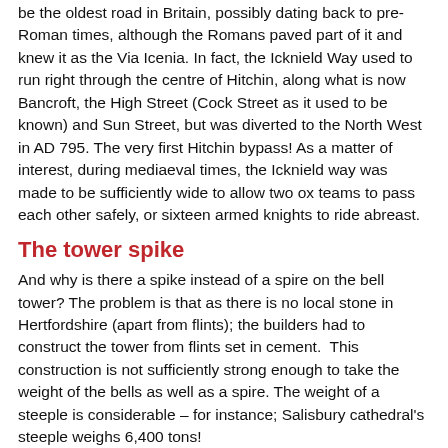be the oldest road in Britain, possibly dating back to pre-Roman times, although the Romans paved part of it and knew it as the Via Icenia. In fact, the Icknield Way used to run right through the centre of Hitchin, along what is now Bancroft, the High Street (Cock Street as it used to be known) and Sun Street, but was diverted to the North West in AD 795. The very first Hitchin bypass! As a matter of interest, during mediaeval times, the Icknield way was made to be sufficiently wide to allow two ox teams to pass each other safely, or sixteen armed knights to ride abreast.
The tower spike
And why is there a spike instead of a spire on the bell tower? The problem is that as there is no local stone in Hertfordshire (apart from flints); the builders had to construct the tower from flints set in cement.  This construction is not sufficiently strong enough to take the weight of the bells as well as a spire. The weight of a steeple is considerable – for instance; Salisbury cathedral's steeple weighs 6,400 tons!
A royal manor